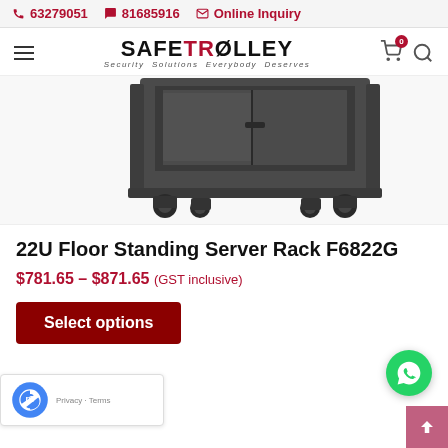📞 63279051   🔔 81685916   ✉ Online Inquiry
[Figure (logo): SafeTrolley logo with text 'SAFETROLLEY' and tagline 'Security Solutions Everybody Deserves']
[Figure (photo): 22U Floor Standing Server Rack F6822G shown from front-bottom angle, dark grey color with glass door and caster wheels]
22U Floor Standing Server Rack F6822G
$781.65 – $871.65 (GST inclusive)
Select options